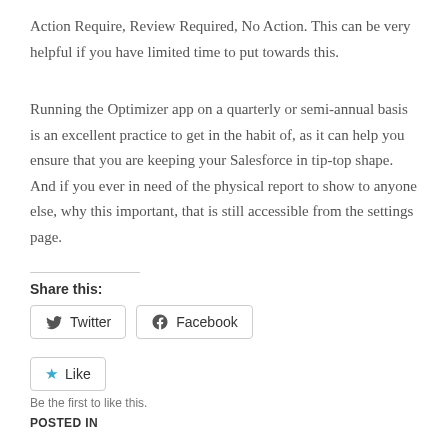Action Require, Review Required, No Action. This can be very helpful if you have limited time to put towards this.
Running the Optimizer app on a quarterly or semi-annual basis is an excellent practice to get in the habit of, as it can help you ensure that you are keeping your Salesforce in tip-top shape. And if you ever in need of the physical report to show to anyone else, why this important, that is still accessible from the settings page.
Share this:
Twitter
Facebook
Like
Be the first to like this.
POSTED IN